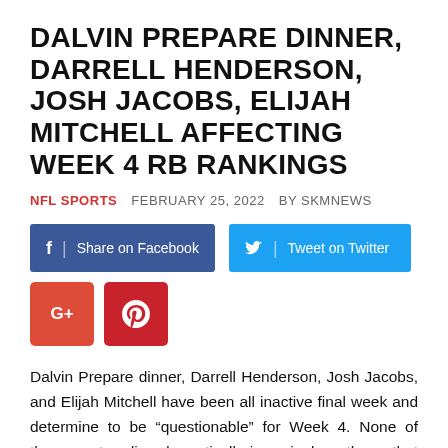DALVIN PREPARE DINNER, DARRELL HENDERSON, JOSH JACOBS, ELIJAH MITCHELL AFFECTING WEEK 4 RB RANKINGS
NFL SPORTS   FEBRUARY 25, 2022   BY SKMNEWS
[Figure (infographic): Social media share buttons: Share on Facebook (blue), Tweet on Twitter (light blue), Google+ (red square), Pinterest (red square)]
Dalvin Prepare dinner, Darrell Henderson, Josh Jacobs, and Elijah Mitchell have been all inactive final week and determine to be “questionable” for Week 4. None of them are trending dramatically in a single path, so that they’ll need to